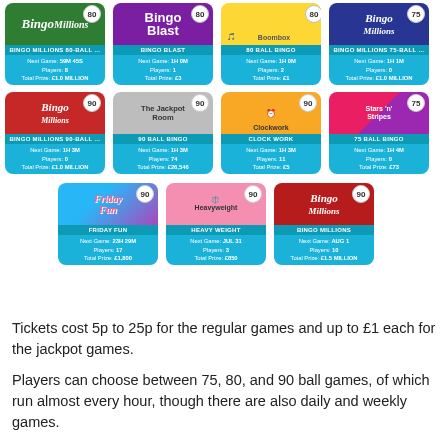[Figure (screenshot): Screenshot of a bingo lobby showing 11 game cards in a 4-4-3 grid layout. Row 1: Bingo Millions 80-Ball, Bingo Blast, 80 Ball Bingo, Bingo Millions 75-Ball. Row 2: Bingo Millions 90-Ball, 90 Ball Bingo (The Jackpot Room), Clock Work, 75 Ball Bingo (Stars 'n' Stripes). Row 3: Friday Fun, Heavy Weight, Bingo Millions. Each card shows next game time, number of players, and total prize.]
Tickets cost 5p to 25p for the regular games and up to £1 each for the jackpot games.
Players can choose between 75, 80, and 90 ball games, of which run almost every hour, though there are also daily and weekly games.